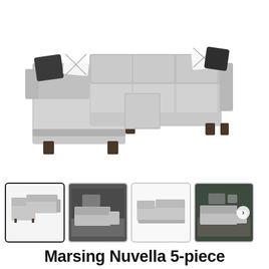[Figure (photo): Large sectional sofa (Marsing Nuvella 5-piece) in light gray upholstery with decorative pillows, L-shape with chaise, photographed on white background]
[Figure (photo): Thumbnail 1 (selected): Marsing Nuvella sectional sofa, angled front view on white background]
[Figure (photo): Thumbnail 2: Marsing Nuvella sectional sofa in a dark-walled room setting]
[Figure (photo): Thumbnail 3: Marsing Nuvella sectional sofa, overhead/flat view on white background]
[Figure (photo): Thumbnail 4: Marsing Nuvella sectional sofa in a styled living room setting]
Marsing Nuvella 5-piece